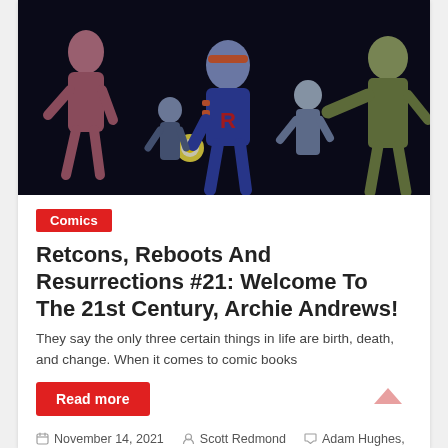[Figure (illustration): Comic book style illustration with dark background showing several characters including a central figure in a blue jacket with 'R' letter, wearing an orange headband, with glowing hand, surrounded by other characters in dramatic poses]
Comics
Retcons, Reboots And Resurrections #21: Welcome To The 21st Century, Archie Andrews!
They say the only three certain things in life are birth, death, and change. When it comes to comic books
Read more
November 14, 2021   Scott Redmond   Adam Hughes,